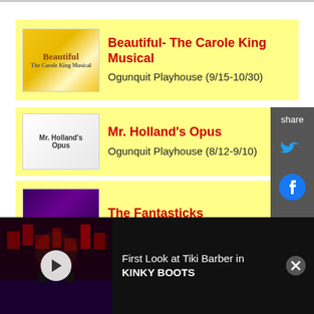Beautiful- The Carole King Musical
Ogunquit Playhouse (9/15-10/30)
Mr. Holland's Opus
Ogunquit Playhouse (8/12-9/10)
The Fantasticks
The Cape Playhouse (9/07-9/17)
Tootsie
The Hanover Theatre and Conservatory for the Performing Arts (9/29-10/02)
[Figure (screenshot): Video banner: First Look at Tiki Barber in KINKY BOOTS with a dark stage photo and play button]
First Look at Tiki Barber in KINKY BOOTS